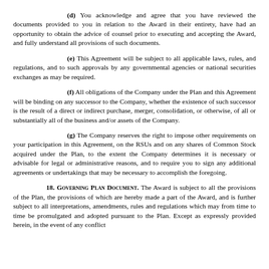(d) You acknowledge and agree that you have reviewed the documents provided to you in relation to the Award in their entirety, have had an opportunity to obtain the advice of counsel prior to executing and accepting the Award, and fully understand all provisions of such documents.
(e) This Agreement will be subject to all applicable laws, rules, and regulations, and to such approvals by any governmental agencies or national securities exchanges as may be required.
(f) All obligations of the Company under the Plan and this Agreement will be binding on any successor to the Company, whether the existence of such successor is the result of a direct or indirect purchase, merger, consolidation, or otherwise, of all or substantially all of the business and/or assets of the Company.
(g) The Company reserves the right to impose other requirements on your participation in this Agreement, on the RSUs and on any shares of Common Stock acquired under the Plan, to the extent the Company determines it is necessary or advisable for legal or administrative reasons, and to require you to sign any additional agreements or undertakings that may be necessary to accomplish the foregoing.
18. Governing Plan Document. The Award is subject to all the provisions of the Plan, the provisions of which are hereby made a part of the Award, and is further subject to all interpretations, amendments, rules and regulations which may from time to time be promulgated and adopted pursuant to the Plan. Except as expressly provided herein, in the event of any conflict